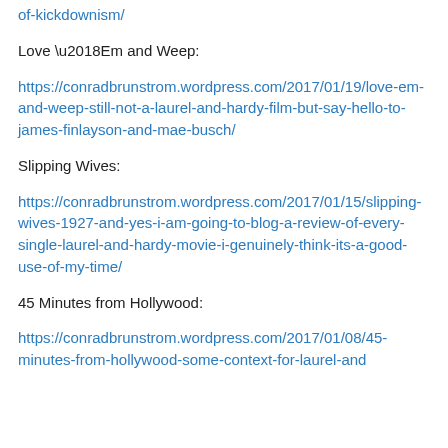of-kickdownism/
Love ‘Em and Weep:
https://conradbrunstrom.wordpress.com/2017/01/19/love-em-and-weep-still-not-a-laurel-and-hardy-film-but-say-hello-to-james-finlayson-and-mae-busch/
Slipping Wives:
https://conradbrunstrom.wordpress.com/2017/01/15/slipping-wives-1927-and-yes-i-am-going-to-blog-a-review-of-every-single-laurel-and-hardy-movie-i-genuinely-think-its-a-good-use-of-my-time/
45 Minutes from Hollywood:
https://conradbrunstrom.wordpress.com/2017/01/08/45-minutes-from-hollywood-some-context-for-laurel-and